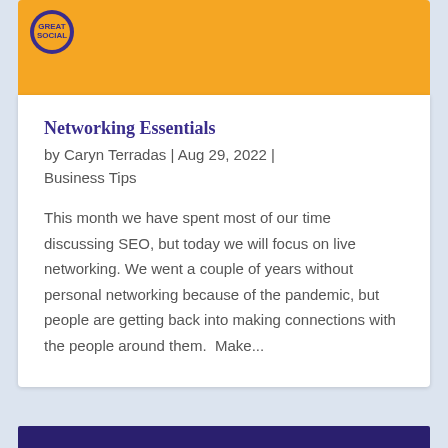[Figure (logo): Circular purple and gold logo in top-left of orange banner]
Networking Essentials
by Caryn Terradas | Aug 29, 2022 | Business Tips
This month we have spent most of our time discussing SEO, but today we will focus on live networking. We went a couple of years without personal networking because of the pandemic, but people are getting back into making connections with the people around them.  Make...